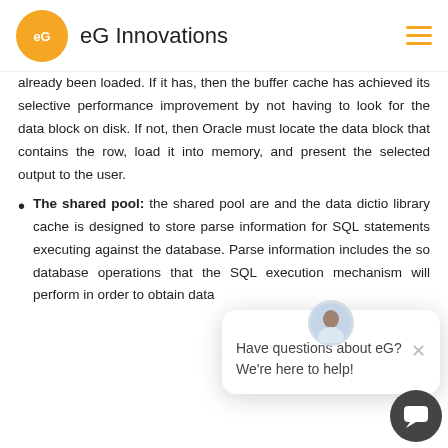eG Innovations
already been loaded. If it has, then the buffer cache has achieved its selective performance improvement by not having to look for the data block on disk. If not, then Oracle must locate the data block that contains the row, load it into memory, and present the selected output to the user.
The shared pool: the shared pool are and the data dictio library cache is designed to store parse information for SQL statements executing against the database. Parse information includes the so database operations that the SQL execution mechanism will perform in order to obtain data